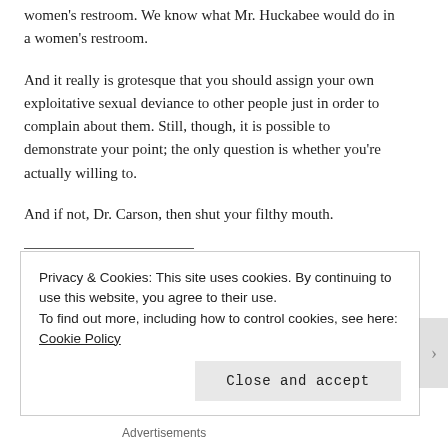women's restroom. We know what Mr. Huckabee would do in a women's restroom.
And it really is grotesque that you should assign your own exploitative sexual deviance to other people just in order to complain about them. Still, though, it is possible to demonstrate your point; the only question is whether you're actually willing to.
And if not, Dr. Carson, then shut your filthy mouth.
Image notes: Top — Ben Carson speaks at the South Carolina Tea Party Coalition Convention on Jan. 18, 2015, in Myrtle Beach, S.C. (Richard Ellis/Getty Images)
Privacy & Cookies: This site uses cookies. By continuing to use this website, you agree to their use.
To find out more, including how to control cookies, see here: Cookie Policy
Close and accept
Advertisements